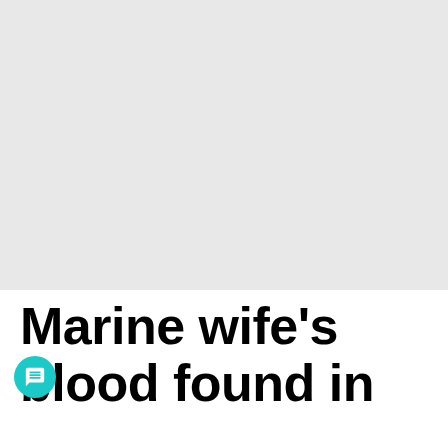[Figure (photo): Light gray placeholder image area occupying the top portion of the page]
Marine wife's blood found in